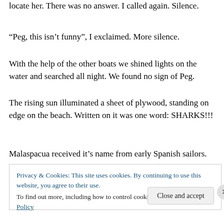locate her. There was no answer. I called again. Silence.
“Peg, this isn’t funny”, I exclaimed. More silence.
With the help of the other boats we shined lights on the water and searched all night. We found no sign of Peg.
The rising sun illuminated a sheet of plywood, standing on edge on the beach. Written on it was one word: SHARKS!!!
Malaspacua received it’s name from early Spanish sailors.
Privacy & Cookies: This site uses cookies. By continuing to use this website, you agree to their use.
To find out more, including how to control cookies, see here: Cookie Policy